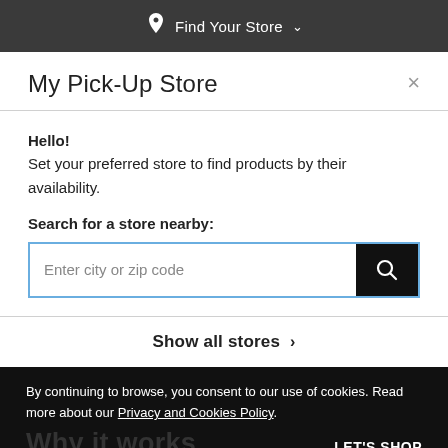Find Your Store ∨
My Pick-Up Store
Hello!
Set your preferred store to find products by their availability.
Search for a store nearby:
[Figure (screenshot): Search input box with placeholder text 'Enter city or zip code' and a black search button with magnifying glass icon]
Show all stores >
By continuing to browse, you consent to our use of cookies. Read more about our Privacy and Cookies Policy.
Why it works
LET'S SHOP